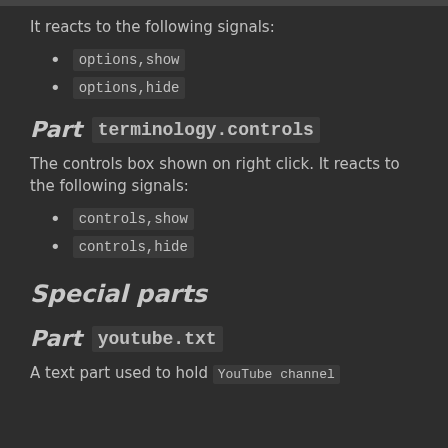It reacts to the following signals:
options,show
options,hide
Part terminology.controls
The controls box shown on right click. It reacts to the following signals:
controls,show
controls,hide
Special parts
Part youtube.txt
A text part used to hold YouTube channel